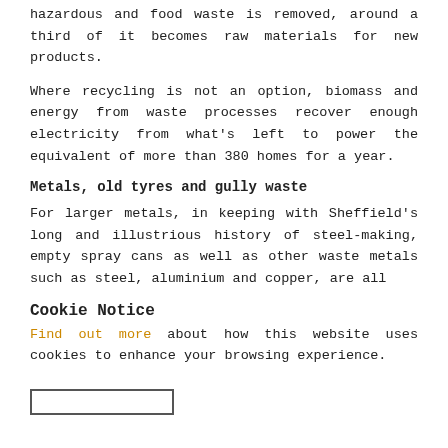hazardous and food waste is removed, around a third of it becomes raw materials for new products.
Where recycling is not an option, biomass and energy from waste processes recover enough electricity from what's left to power the equivalent of more than 380 homes for a year.
Metals, old tyres and gully waste
For larger metals, in keeping with Sheffield's long and illustrious history of steel-making, empty spray cans as well as other waste metals such as steel, aluminium and copper, are all
Cookie Notice
Find out more about how this website uses cookies to enhance your browsing experience.